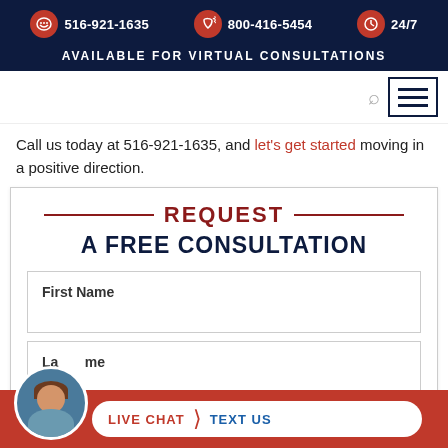516-921-1635 | 800-416-5454 | 24/7
AVAILABLE FOR VIRTUAL CONSULTATIONS
Call us today at 516-921-1635, and let's get started moving in a positive direction.
REQUEST A FREE CONSULTATION
First Name
Last Name
LIVE CHAT | TEXT US